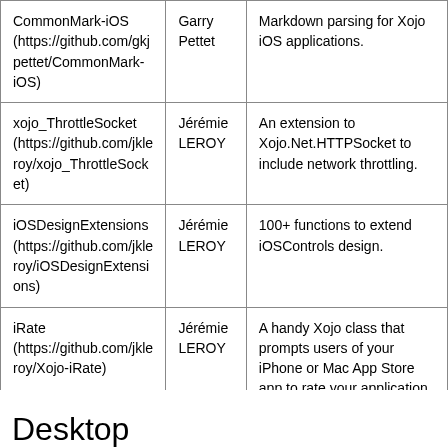| CommonMark-iOS (https://github.com/gkjpettet/CommonMark-iOS) | Garry Pettet | Markdown parsing for Xojo iOS applications. |
| xojo_ThrottleSocket (https://github.com/jkleroy/xojo_ThrottleSocket) | Jérémie LEROY | An extension to Xojo.Net.HTTPSocket to include network throttling. |
| iOSDesignExtensions (https://github.com/jkleroy/iOSDesignExtensions) | Jérémie LEROY | 100+ functions to extend iOSControls design. |
| iRate (https://github.com/jkleroy/Xojo-iRate) | Jérémie LEROY | A handy Xojo class that prompts users of your iPhone or Mac App Store app to rate your application after using it for a while. |
Desktop